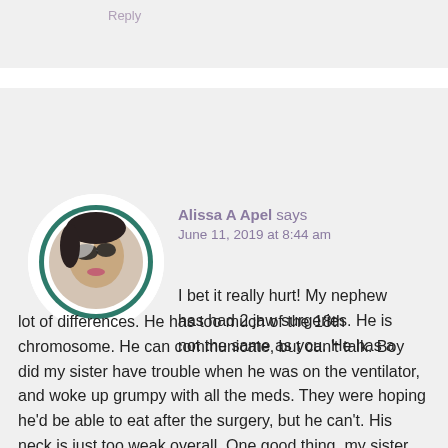Reply
[Figure (photo): Circular avatar photo of Alissa A Apel, a woman wearing sunglasses, with a dark teal/green circular border]
Alissa A Apel says
June 11, 2019 at 8:44 am
I bet it really hurt! My nephew has had 2 jaw surgeries. He is not the same as you. He has a lot of differences. He has too much of the 18th chromosome. He can communicate, but can't talk. Boy did my sister have trouble when he was on the ventilator, and woke up grumpy with all the meds. They were hoping he'd be able to eat after the surgery, but he can't. His neck is just too weak overall. One good thing, my sister has her masters in nursing. She's the perfect mother for his have